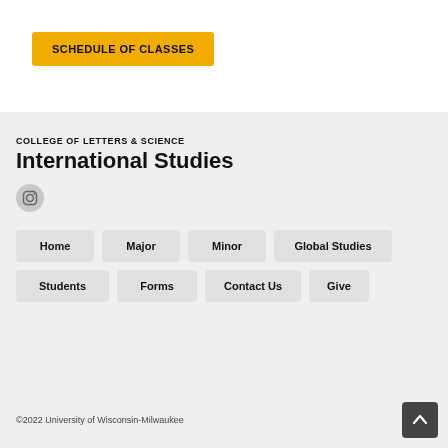[Figure (screenshot): Yellow 'SCHEDULE OF CLASSES' button in top white section of a university website]
COLLEGE OF LETTERS & SCIENCE
International Studies
[Figure (logo): Instagram icon (camera outline) in a round gray circle]
Home
Major
Minor
Global Studies
Students
Forms
Contact Us
Give
©2022 University of Wisconsin-Milwaukee